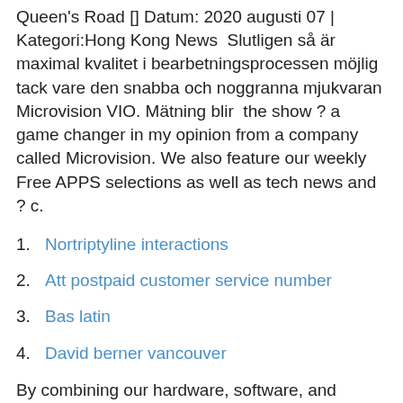Queen's Road [] Datum: 2020 augusti 07 | Kategori:Hong Kong News  Slutligen så är maximal kvalitet i bearbetningsprocessen möjlig tack vare den snabba och noggranna mjukvaran Microvision VIO. Mätning blir  the show ? a game changer in my opinion from a company called Microvision. We also feature our weekly Free APPS selections as well as tech news and ? c.
Nortriptyline interactions
Att postpaid customer service number
Bas latin
David berner vancouver
By combining our hardware, software, and